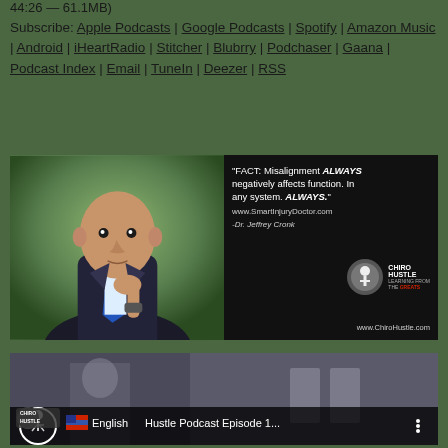44:26 — 61.1MB)
Subscribe: Apple Podcasts | Google Podcasts | Spotify | Amazon Music | Android | iHeartRadio | Stitcher | Blubrry | Podchaser | Gaana | Podcast Index | Email | TuneIn | Deezer | RSS
[Figure (photo): Left side: professional headshot of a bald man in a dark suit with blue tie, hand on chin in thoughtful pose, against green outdoor background. Right side: dark background with quote text reading 'FACT: Misalignment ALWAYS negatively affects function. In any system. ALWAYS.' with website www.SmartInjuryDoctor.com and credit to Dr. Jeffrey Cronk, with Chiro Hustle logo and www.ChiroHustle.com]
[Figure (screenshot): Thumbnail of a video player showing 'Chiro Hustle Podcast Episode 1...' with accessibility icon (person in circle), US flag and English language label, and three-dot menu icon. Background shows a person in foreground blurred.]